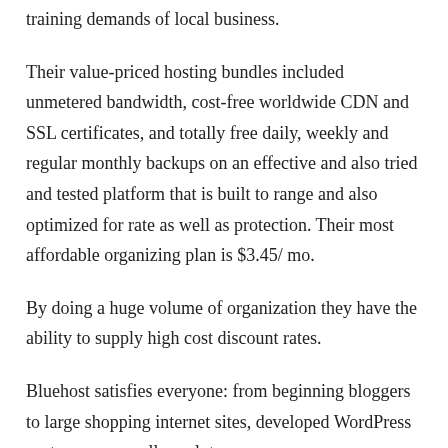training demands of local business.
Their value-priced hosting bundles included unmetered bandwidth, cost-free worldwide CDN and SSL certificates, and totally free daily, weekly and regular monthly backups on an effective and also tried and tested platform that is built to range and also optimized for rate as well as protection. Their most affordable organizing plan is $3.45/ mo.
By doing a huge volume of organization they have the ability to supply high cost discount rates.
Bluehost satisfies everyone: from beginning bloggers to large shopping internet sites, developed WordPress customers, as well as a lot more.